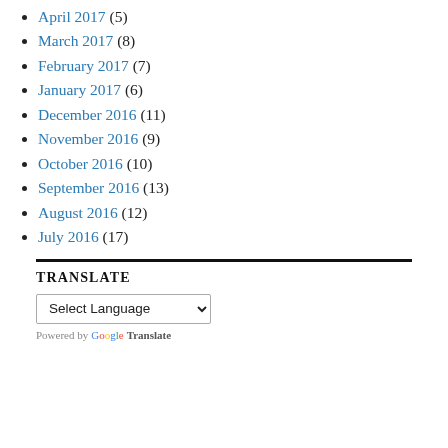April 2017 (5)
March 2017 (8)
February 2017 (7)
January 2017 (6)
December 2016 (11)
November 2016 (9)
October 2016 (10)
September 2016 (13)
August 2016 (12)
July 2016 (17)
TRANSLATE
Select Language — Powered by Google Translate